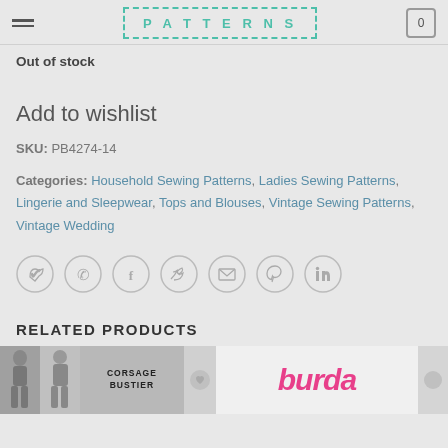PATTERNS
Out of stock
Add to wishlist
SKU: PB4274-14
Categories: Household Sewing Patterns, Ladies Sewing Patterns, Lingerie and Sleepwear, Tops and Blouses, Vintage Sewing Patterns, Vintage Wedding
[Figure (infographic): Row of social media sharing icons: WhatsApp, Facebook, Twitter, Email, Pinterest, LinkedIn — all circular with light grey borders]
RELATED PRODUCTS
[Figure (photo): Two product thumbnail images at bottom: left shows vintage sewing pattern cover with Corsage Bustier label; right shows Burda brand logo in pink italic text]